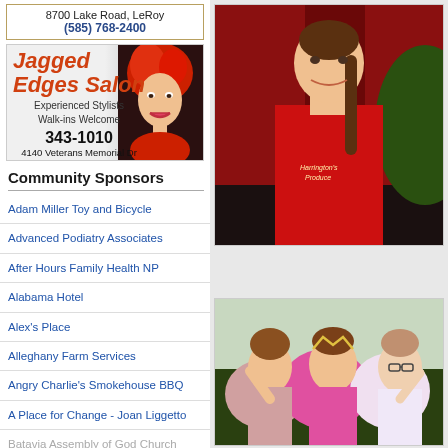8700 Lake Road, LeRoy
(585) 768-2400
[Figure (advertisement): Jagged Edges Salon ad with woman with red hair. Text: Jagged Edges Salon, Experienced Stylists, Walk-ins Welcome, 343-1010, 4140 Veterans Memorial Dr]
Community Sponsors
Adam Miller Toy and Bicycle
Advanced Podiatry Associates
After Hours Family Health NP
Alabama Hotel
Alex's Place
Alleghany Farm Services
Angry Charlie's Smokehouse BBQ
A Place for Change - Joan Liggetto
Batavia Assembly of God Church
[Figure (photo): Young woman in red t-shirt smiling, outdoors, appears to be at a fair or parade]
[Figure (photo): Group of girls smiling and waving, one wearing a tiara, at what appears to be a parade]